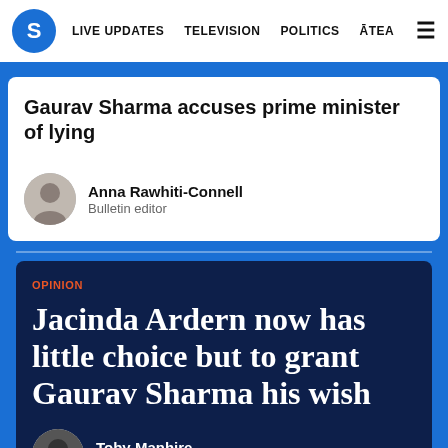S  LIVE UPDATES  TELEVISION  POLITICS  ĀTEA  ≡
Gaurav Sharma accuses prime minister of lying
Anna Rawhiti-Connell
Bulletin editor
OPINION
Jacinda Ardern now has little choice but to grant Gaurav Sharma his wish
Toby Manhire
Editor-at-large